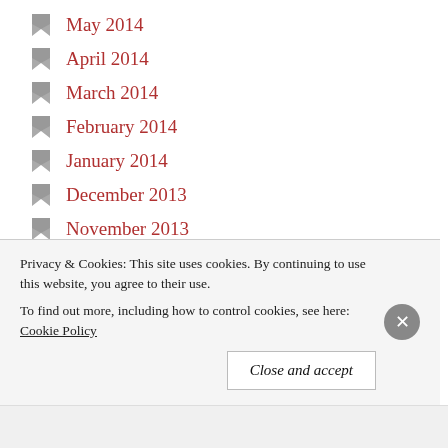May 2014
April 2014
March 2014
February 2014
January 2014
December 2013
November 2013
October 2013
September 2013
August 2013
July 2013
June 2013
May 2013
Privacy & Cookies: This site uses cookies. By continuing to use this website, you agree to their use. To find out more, including how to control cookies, see here: Cookie Policy
Close and accept